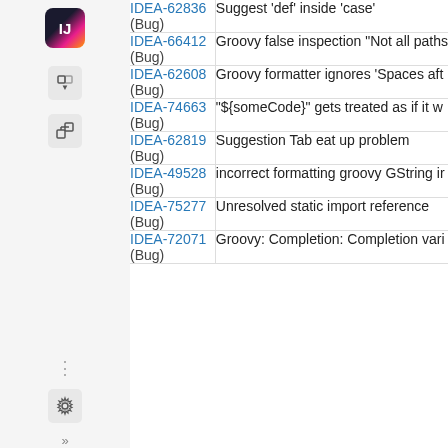| ID / Type | Description |
| --- | --- |
| IDEA-62836 (Bug) | Suggest 'def' inside 'case' |
| IDEA-66412 (Bug) | Groovy false inspection "Not all paths |
| IDEA-62608 (Bug) | Groovy formatter ignores 'Spaces aft |
| IDEA-74663 (Bug) | "${someCode}" gets treated as if it w |
| IDEA-62819 (Bug) | Suggestion Tab eat up problem |
| IDEA-49528 (Bug) | incorrect formatting groovy GString ir |
| IDEA-75277 (Bug) | Unresolved static import reference |
| IDEA-72071 (Bug) | Groovy: Completion: Completion vari |